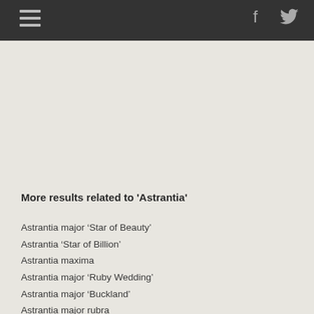Navigation and social media header bar
More results related to 'Astrantia'
Astrantia major ‘Star of Beauty’
Astrantia ‘Star of Billion’
Astrantia maxima
Astrantia major ‘Ruby Wedding’
Astrantia major ‘Buckland’
Astrantia major rubra
Astrantia major ‘Sunningdale Gold’
Astrantia major ‘Sunningdale Variegated’